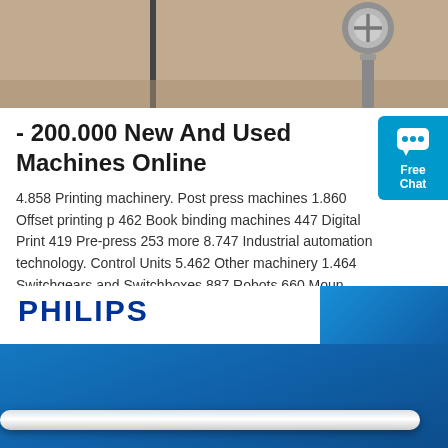[Figure (photo): Close-up photo of machine parts/screws on a surface, partially visible at top of page]
- 200.000 New And Used Machines Online
4.858 Printing machinery. Post press machines 1.860 Offset printing p 462 Book binding machines 447 Digital Print 419 Pre-press 253 more 8.747 Industrial automation technology. Control Units 5.462 Other machinery 1.464 Switchgears and Switchboxes 887 Robots 660 Moun technology 142 more. 8.242 Propulsion & Conveying technology.
[Figure (other): Free Chat widget button in teal/blue color with chat bubble icon]
Get Price
[Figure (photo): Philips branded product image with blue background and a fluorescent tube light visible at bottom]